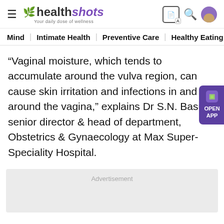healthshots — Your daily dose of wellness
Mind | Intimate Health | Preventive Care | Healthy Eating
“Vaginal moisture, which tends to accumulate around the vulva region, can cause skin irritation and infections in and around the vagina,” explains Dr S.N. Basu, senior director & head of department, Obstetrics & Gynaecology at Max Super-Speciality Hospital.
Advertisement